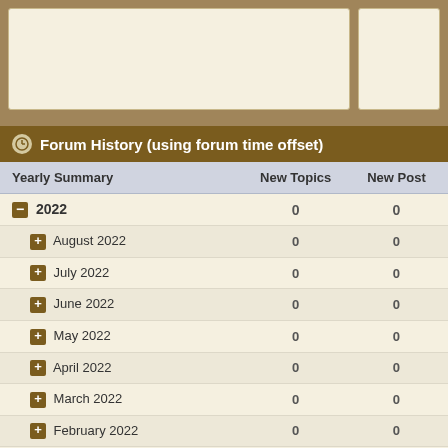Forum History (using forum time offset)
| Yearly Summary | New Topics | New Posts |
| --- | --- | --- |
| 2022 | 0 | 0 |
| August 2022 | 0 | 0 |
| July 2022 | 0 | 0 |
| June 2022 | 0 | 0 |
| May 2022 | 0 | 0 |
| April 2022 | 0 | 0 |
| March 2022 | 0 | 0 |
| February 2022 | 0 | 0 |
| January 2022 | 0 | 0 |
| 2021 | 0 | 0 |
| December 2021 | 0 | 0 |
| November 2021 | 0 | 0 |
| October 2021 | 0 | 0 |